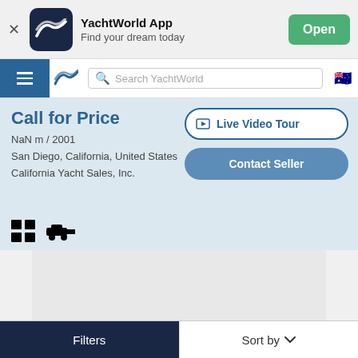[Figure (screenshot): YachtWorld App banner with logo, app name, tagline and Open button]
YachtWorld App — Find your dream today
Call for Price
NaN m / 2001
San Diego, California, United States
California Yacht Sales, Inc.
Live Video Tour
Contact Seller
Filters
Sort by